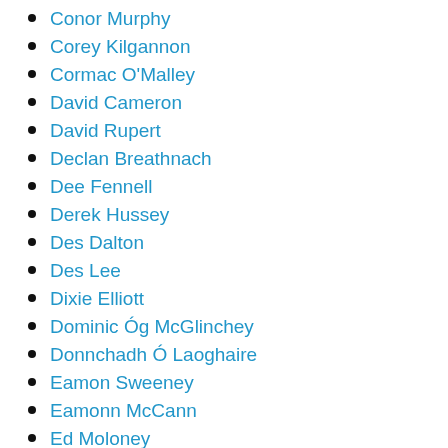Conor Murphy
Corey Kilgannon
Cormac O'Malley
David Cameron
David Rupert
Declan Breathnach
Dee Fennell
Derek Hussey
Des Dalton
Des Lee
Dixie Elliott
Dominic Óg McGlinchey
Donnchadh Ó Laoghaire
Eamon Sweeney
Eamonn McCann
Ed Moloney